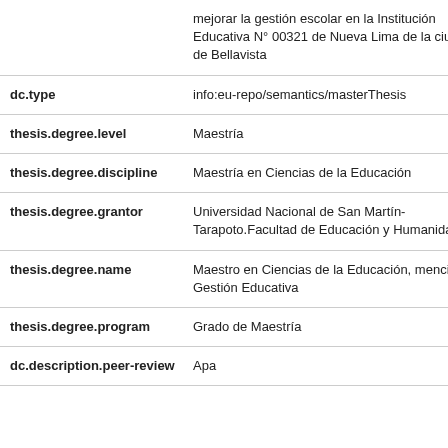| Field | Value |
| --- | --- |
|  | mejorar la gestión escolar en la Institución Educativa N° 00321 de Nueva Lima de la ciudad de Bellavista |
| dc.type | info:eu-repo/semantics/masterThesis |
| thesis.degree.level | Maestría |
| thesis.degree.discipline | Maestría en Ciencias de la Educación |
| thesis.degree.grantor | Universidad Nacional de San Martín-Tarapoto.Facultad de Educación y Humanidades |
| thesis.degree.name | Maestro en Ciencias de la Educación, mención Gestión Educativa |
| thesis.degree.program | Grado de Maestría |
| dc.description.peer-review | Apa |